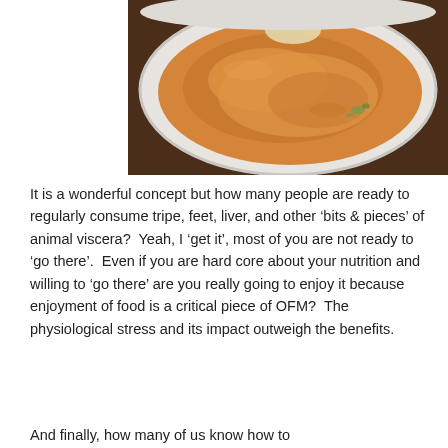[Figure (photo): A photograph of a bowl of orange soup, viewed from above, with some garnishes visible on the surface. The bowl is white and sits on a dark wooden surface.]
It is a wonderful concept but how many people are ready to regularly consume tripe, feet, liver, and other ‘bits & pieces’ of animal viscera?  Yeah, I ‘get it’, most of you are not ready to ‘go there’.  Even if you are hard core about your nutrition and willing to ‘go there’ are you really going to enjoy it because enjoyment of food is a critical piece of OFM?  The physiological stress and its impact outweigh the benefits.
And finally, how many of us know how to